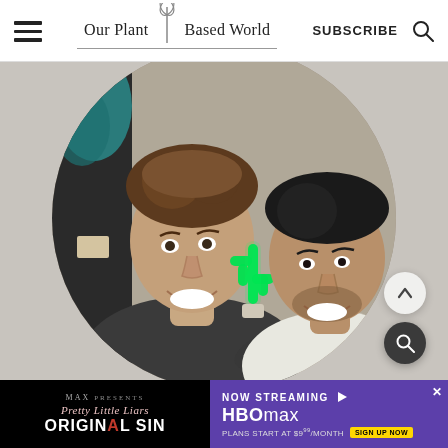Our Plant Based World — SUBSCRIBE
[Figure (photo): Two men smiling together in a selfie photo, displayed in a circular crop. A green neon cactus light is visible between them. One man wears a dark t-shirt and the other wears a white sleeveless shirt. There is a colorful teal plant/fabric in the background.]
[Figure (screenshot): Advertisement banner for HBO Max showing 'Pretty Little Liars: Original Sin' with text 'NOW STREAMING HBOMAX PLANS START AT $9.99/MONTH' and a close button.]